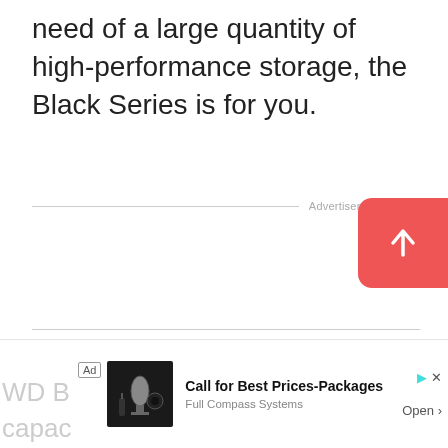need of a large quantity of high-performance storage, the Black Series is for you.
Advertisement
[Figure (other): Scroll-to-top button, red rounded rectangle with upward arrow icon]
[Figure (other): Advertisement banner: microphone product image, 'Call for Best Prices-Packages', 'Full Compass Systems', Open button]
WD B
capac